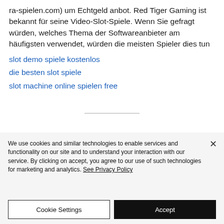ra-spielen.com) um Echtgeld anbot. Red Tiger Gaming ist bekannt für seine Video-Slot-Spiele. Wenn Sie gefragt würden, welches Thema der Softwareanbieter am häufigsten verwendet, würden die meisten Spieler dies tun
slot demo spiele kostenlos
die besten slot spiele
slot machine online spielen free
We use cookies and similar technologies to enable services and functionality on our site and to understand your interaction with our service. By clicking on accept, you agree to our use of such technologies for marketing and analytics. See Privacy Policy